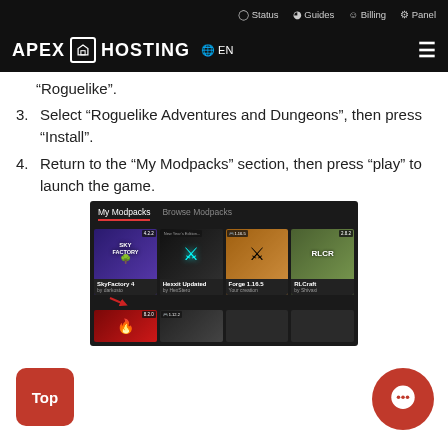Status  Guides  Billing  Panel
[Figure (logo): Apex Hosting logo with globe EN and hamburger menu]
“Roguelike”.
3. Select “Roguelike Adventures and Dungeons”, then press “Install”.
4. Return to the “My Modpacks” section, then press “play” to launch the game.
[Figure (screenshot): CurseForge launcher My Modpacks screen showing SkyFactory 4, Hexxit Updated, Forge 1.16.5, RLCraft modpack tiles and partial bottom row]